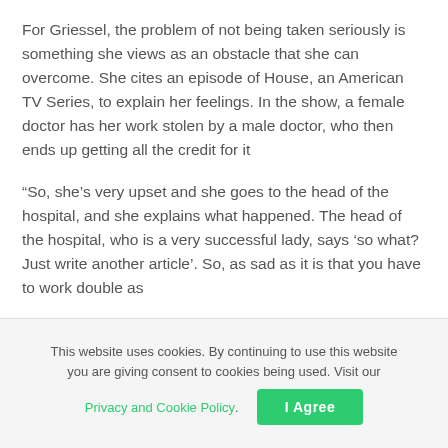For Griessel, the problem of not being taken seriously is something she views as an obstacle that she can overcome. She cites an episode of House, an American TV Series, to explain her feelings. In the show, a female doctor has her work stolen by a male doctor, who then ends up getting all the credit for it
“So, she’s very upset and she goes to the head of the hospital, and she explains what happened. The head of the hospital, who is a very successful lady, says ‘so what? Just write another article’. So, as sad as it is that you have to work double as
This website uses cookies. By continuing to use this website you are giving consent to cookies being used. Visit our Privacy and Cookie Policy. I Agree